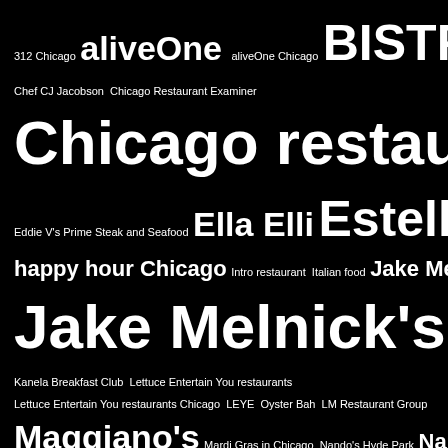[Figure (other): Word cloud on black background featuring Chicago restaurant names and tags in varying font sizes. Larger words include 'Jake Melnick's Corner Tap', 'Chicago restaurants', 'BISTRONOMIC', 'Smoke Daddy', 'Remedy Bar', 'River Roast', 'Osteria via Stato', 'Estelle's', 'Easy Bar', 'Weather Mark Tavern', 'Nando's Peri-Peri', 'Maggiano's', 'Shaw's Crab House Chicago', 'The Patio at Cafe Brauer', 'wine dinners', 'Ella Elli', and many other smaller restaurant and food-related terms.]